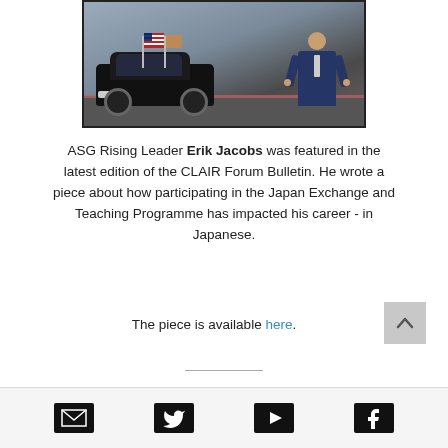[Figure (photo): Photo of a person in a navy suit standing in front of a black car with an American flag, on a tarmac/road background.]
ASG Rising Leader Erik Jacobs was featured in the latest edition of the CLAIR Forum Bulletin. He wrote a piece about how participating in the Japan Exchange and Teaching Programme has impacted his career - in Japanese.
The piece is available here.